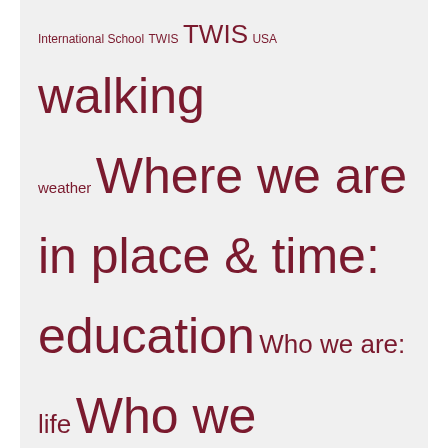International School TWIS TWIS USA walking weather Where we are in place & time: education Who we are: life Who we are: Manchester City wildlife words writing Yunnan
SHENZHEN BLUES
STUFF FROM THAT BIRD PLACE
Tweets from